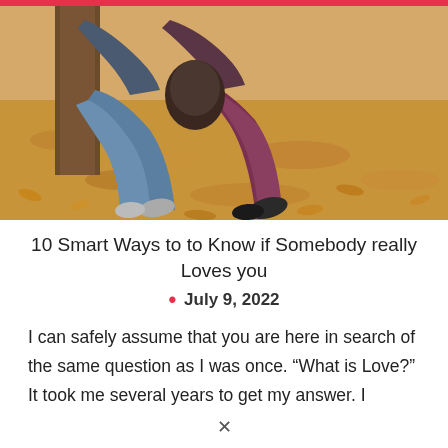[Figure (photo): Two people sitting against a tree on fallen autumn leaves, legs visible, one in jeans and the other in dark leggings, surrounded by yellow-brown fallen leaves.]
10 Smart Ways to to Know if Somebody really Loves you
July 9, 2022
I can safely assume that you are here in search of the same question as I was once. “What is Love?” It took me several years to get my answer. I stumbled upon multiple answers to this question but deep down I was not satisfied with whatever I answer